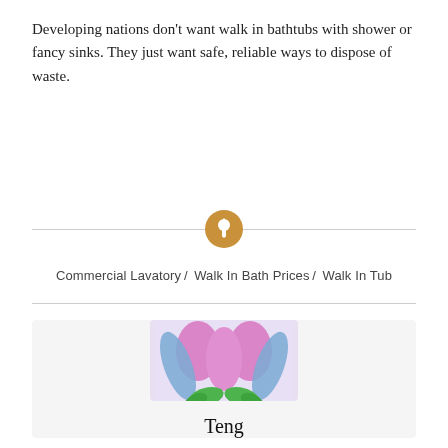Developing nations don't want walk in bathtubs with shower or fancy sinks. They just want safe, reliable ways to dispose of waste.
[Figure (illustration): Orange circle with a pushpin/thumbtack icon centered on a horizontal divider line]
Commercial Lavatory / Walk In Bath Prices / Walk In Tub
[Figure (illustration): Cartoon character named Teng — a pink flower-like creature with blue wing-like appendages and green feet, standing upright with a pin/stem on its head, on a light purple background]
Teng